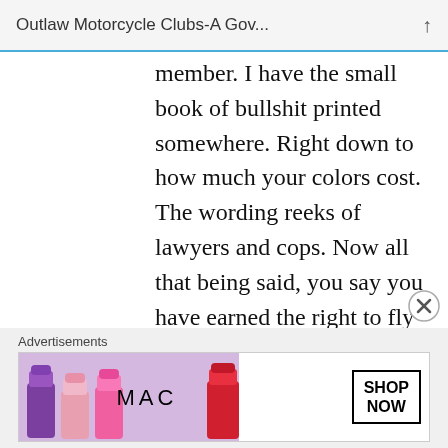Outlaw Motorcycle Clubs-A Gov...
member. I have the small book of bullshit printed somewhere. Right down to how much your colors cost. The wording reeks of lawyers and cops. Now all that being said, you say you have earned the right to fly your fucking rags anywhere you like. How the hell can you turn around and threaten to deny another club the same respect when they roll through your territory flying colors. Especially
Advertisements
[Figure (photo): MAC cosmetics advertisement banner showing lipsticks and SHOP NOW button]